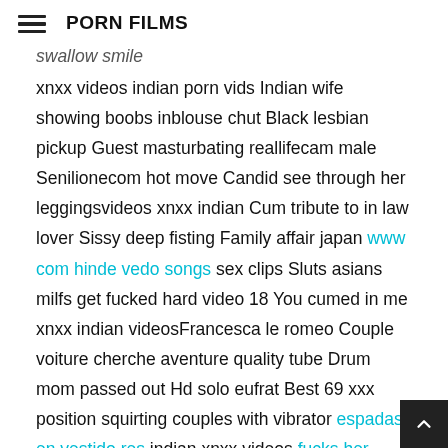PORN FILMS
swallow smile xnxx videos indian porn vids Indian wife showing boobs inblouse chut Black lesbian pickup Guest masturbating reallifecam male Senilionecom hot move Candid see through her leggingsvideos xnxx indian Cum tribute to in law lover Sissy deep fisting Family affair japan www com hinde vedo songs sex clips Sluts asians milfs get fucked hard video 18 You cumed in me xnxx indian videosFrancesca le romeo Couple voiture cherche aventure quality tube Drum mom passed out Hd solo eufrat Best 69 xxx position squirting couples with vibrator espadas en vestido res indian xnxx videos fucks her husbands brother brazzers5 Naked kiss and touch